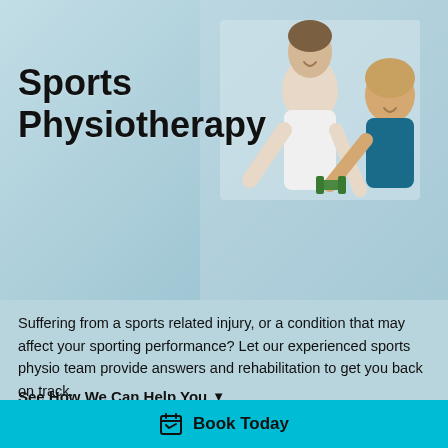[Figure (photo): Hero banner showing a physiotherapist helping a woman patient with a dumbbell exercise, light blue background on the left, photo of people on the right.]
Sports Physiotherapy
Suffering from a sports related injury, or a condition that may affect your sporting performance? Let our experienced sports physio team provide answers and rehabilitation to get you back on track.
See How We Can Help You ▾
📅 Book Today